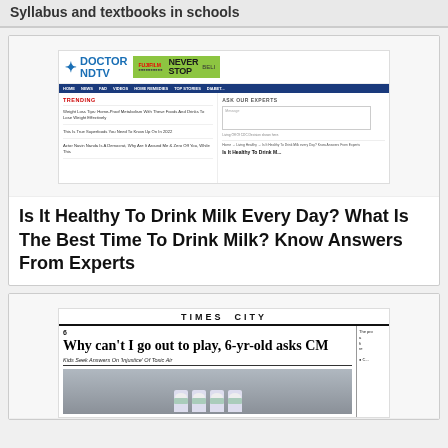Syllabus and textbooks in schools
[Figure (screenshot): Screenshot of DoctorNDTV website showing trending health articles and Ask Our Experts section. Logo shows blue star with DOCTOR NDTV text, Fujifilm Never Stop advertisement banner, navigation menu, trending articles about weight loss and health topics, and a message input box for asking experts.]
Is It Healthy To Drink Milk Every Day? What Is The Best Time To Drink Milk? Know Answers From Experts
[Figure (screenshot): Screenshot of Times City newspaper page showing headline 'Why can't I go out to play, 6-yr-old asks CM' with subheading 'Kids Seek Answers On Injustice Of Toxic Air', page number 6, and a photo of children wearing masks outdoors.]